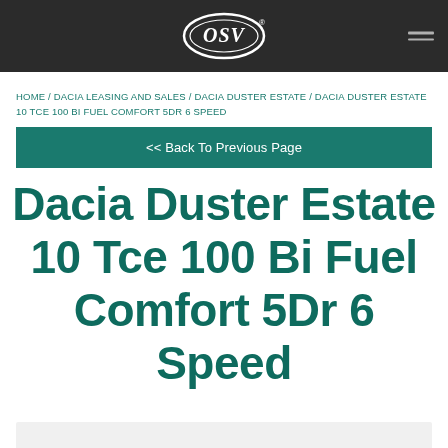OSV logo and navigation header
HOME / DACIA LEASING AND SALES / DACIA DUSTER ESTATE / DACIA DUSTER ESTATE 10 TCE 100 BI FUEL COMFORT 5DR 6 SPEED
<< Back To Previous Page
Dacia Duster Estate 10 Tce 100 Bi Fuel Comfort 5Dr 6 Speed